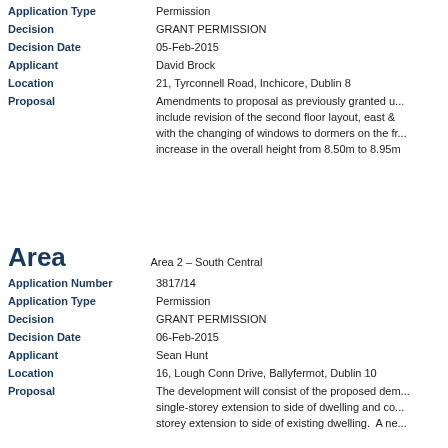| Field | Value |
| --- | --- |
| Application Type | Permission |
| Decision | GRANT PERMISSION |
| Decision Date | 05-Feb-2015 |
| Applicant | David Brock |
| Location | 21, Tyrconnell Road, Inchicore, Dublin 8 |
| Proposal | Amendments to proposal as previously granted u... include revision of the second floor layout, east & ... with the changing of windows to dormers on the fr... increase in the overall height from 8.50m to 8.95m |
Area
| Field | Value |
| --- | --- |
| Area | Area 2 – South Central |
| Application Number | 3817/14 |
| Application Type | Permission |
| Decision | GRANT PERMISSION |
| Decision Date | 06-Feb-2015 |
| Applicant | Sean Hunt |
| Location | 16, Lough Conn Drive, Ballyfermot, Dublin 10 |
| Proposal | The development will consist of the proposed dem... single-storey extension to side of dwelling and co... storey extension to side of existing dwelling. A ne... |